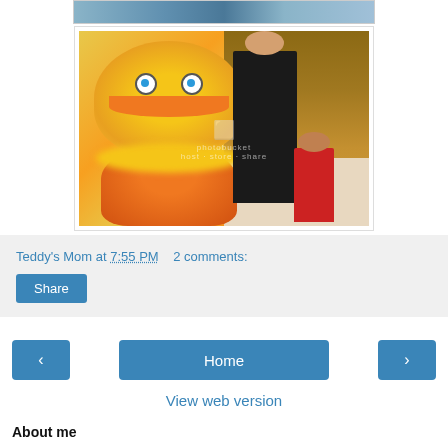[Figure (photo): Partial photo strip at top, brown/blue tones, cut off at top edge]
[Figure (photo): Photo of a person in a Lorax (Dr. Seuss character) mascot costume - large yellow and orange furry suit with big eyes - standing next to a young woman in black and a small toddler in a red shirt, in what appears to be an indoor event/convention hall. Photobucket watermark visible.]
Teddy's Mom at 7:55 PM   2 comments:
Share
‹
Home
›
View web version
About me